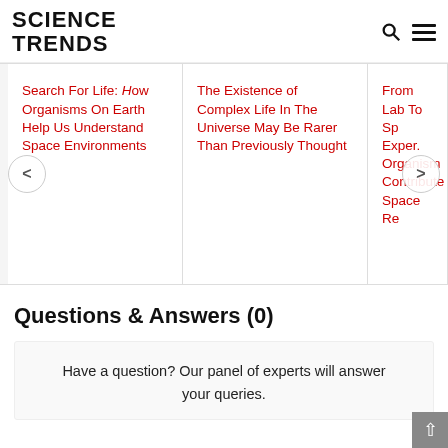SCIENCE TRENDS
Search For Life: How Organisms On Earth Help Us Understand Space Environments
The Existence of Complex Life In The Universe May Be Rarer Than Previously Thought
From Lab To Space Experiments Organisms Contribute Space Research
Questions & Answers (0)
Have a question? Our panel of experts will answer your queries.